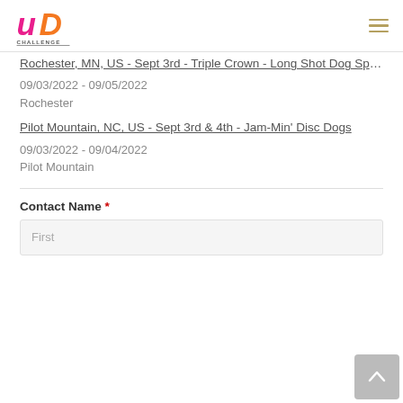UD Challenge
Rochester, MN, US - Sept 3rd - Triple Crown - Long Shot Dog Sports
09/03/2022 - 09/05/2022
Rochester
Pilot Mountain, NC, US - Sept 3rd & 4th - Jam-Min' Disc Dogs
09/03/2022 - 09/04/2022
Pilot Mountain
Contact Name *
First